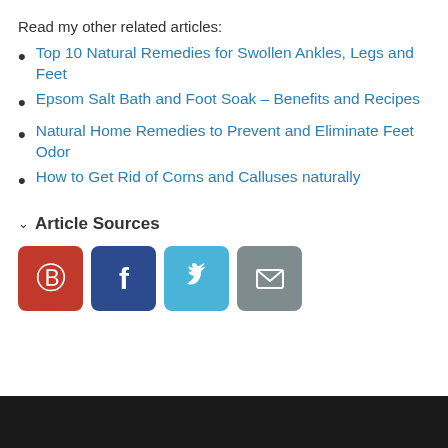Read my other related articles:
Top 10 Natural Remedies for Swollen Ankles, Legs and Feet
Epsom Salt Bath and Foot Soak – Benefits and Recipes
Natural Home Remedies to Prevent and Eliminate Feet Odor
How to Get Rid of Corns and Calluses naturally
Article Sources
[Figure (infographic): Social sharing buttons: Pinterest (red), Facebook (dark blue), Twitter (light blue), Email (gray)]
[Figure (photo): Dark monochrome photo strip at bottom of page, appears to show people]